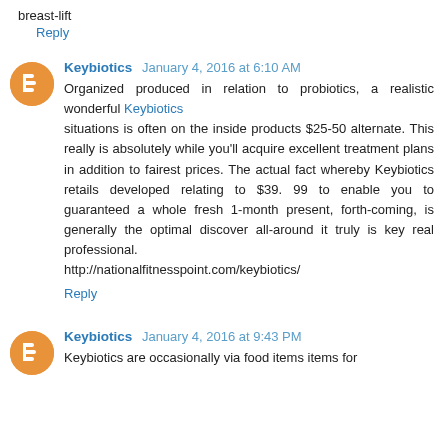breast-lift
Reply
Keybiotics January 4, 2016 at 6:10 AM
Organized produced in relation to probiotics, a realistic wonderful Keybiotics situations is often on the inside products $25-50 alternate. This really is absolutely while you'll acquire excellent treatment plans in addition to fairest prices. The actual fact whereby Keybiotics retails developed relating to $39. 99 to enable you to guaranteed a whole fresh 1-month present, forth-coming, is generally the optimal discover all-around it truly is key real professional. http://nationalfitnesspoint.com/keybiotics/
Reply
Keybiotics January 4, 2016 at 9:43 PM
Keybiotics are occasionally via food items items for